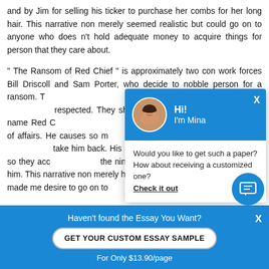and by Jim for selling his ticker to purchase her combs for her long hair. This narrative non merely seemed realistic but could go on to anyone who does n't hold adequate money to acquire things for person that they care about.
" The Ransom of Red Chief " is approximately two con work forces Bill Driscoll and Sam Porter, who decide to nobble person for a ransom. T Ebenezer Dorset, a outst respected. They shortly fi assumes the name Red C encampment escapade a of affairs. He causes so m forces that they finally in t take him back. His male take him back so they acc the nine-year-old, but we rid of him. This narrative non merely had wit, but we interesting to read. It made me desire to go on to
[Figure (screenshot): Chat popup widget with photo of Mina and message: Would you like to get such a paper? How about receiving a customized one? Check it out]
Haven't found the Essay You Want?
GET YOUR CUSTOM ESSAY SAMPLE
For Only $13.90/page